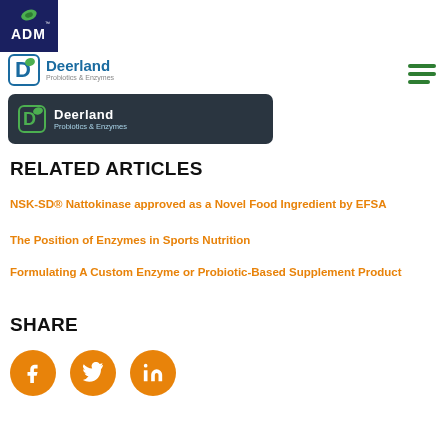[Figure (logo): ADM logo - dark blue rectangle with white ADM text and green leaf]
[Figure (logo): Deerland Probiotics & Enzymes logo with teal D icon]
[Figure (screenshot): Deerland Probiotics & Enzymes banner/app screenshot on dark background]
RELATED ARTICLES
NSK-SD® Nattokinase approved as a Novel Food Ingredient by EFSA
The Position of Enzymes in Sports Nutrition
Formulating A Custom Enzyme or Probiotic-Based Supplement Product
SHARE
[Figure (infographic): Three orange circular social media buttons: Facebook, Twitter, LinkedIn]